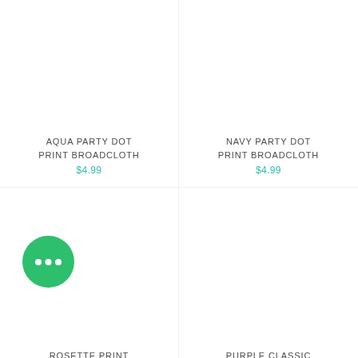AQUA PARTY DOT PRINT BROADCLOTH
$4.99
NAVY PARTY DOT PRINT BROADCLOTH
$4.99
[Figure (illustration): Green circular chat bubble button with three dots]
ROSETTE PRINT
PURPLE CLASSIC